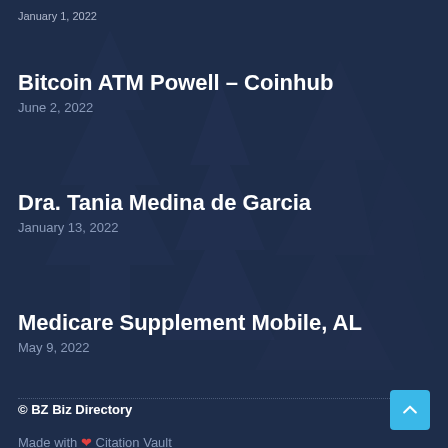January 1, 2022
Bitcoin ATM Powell – Coinhub
June 2, 2022
Dra. Tania Medina de Garcia
January 13, 2022
Medicare Supplement Mobile, AL
May 9, 2022
© BZ Biz Directory
Made with ❤ Citation Vault